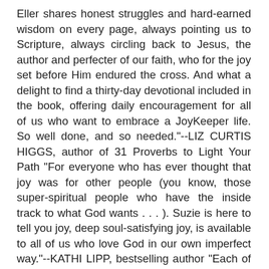Eller shares honest struggles and hard-earned wisdom on every page, always pointing us to Scripture, always circling back to Jesus, the author and perfecter of our faith, who for the joy set before Him endured the cross. And what a delight to find a thirty-day devotional included in the book, offering daily encouragement for all of us who want to embrace a JoyKeeper life. So well done, and so needed."--LIZ CURTIS HIGGS, author of 31 Proverbs to Light Your Path "For everyone who has ever thought that joy was for other people (you know, those super-spiritual people who have the inside track to what God wants . . . ). Suzie is here to tell you joy, deep soul-satisfying joy, is available to all of us who love God in our own imperfect way."--KATHI LIPP, bestselling author "Each of us wrestle with sticky spots in our lives that try, on a daily